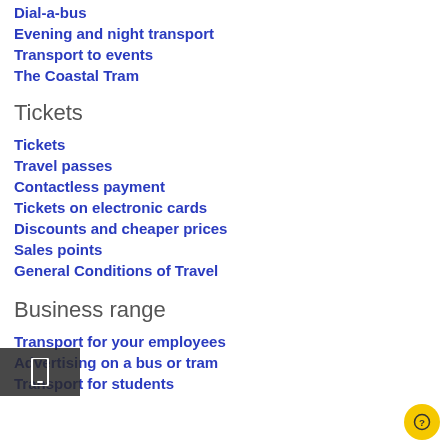Dial-a-bus
Evening and night transport
Transport to events
The Coastal Tram
Tickets
Tickets
Travel passes
Contactless payment
Tickets on electronic cards
Discounts and cheaper prices
Sales points
General Conditions of Travel
Business range
Transport for your employees
Advertising on a bus or tram
Transport for students